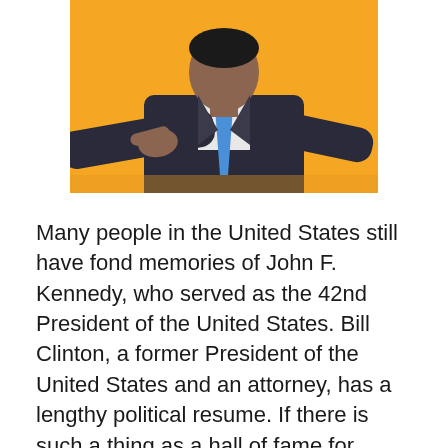[Figure (photo): A man in a dark suit with a blue tie pointing his finger, against an orange background. The image is cropped showing the upper body and outstretched arm.]
Many people in the United States still have fond memories of John F. Kennedy, who served as the 42nd President of the United States. Bill Clinton, a former President of the United States and an attorney, has a lengthy political resume. If there is such a thing as a hall of fame for political figures, … Read more